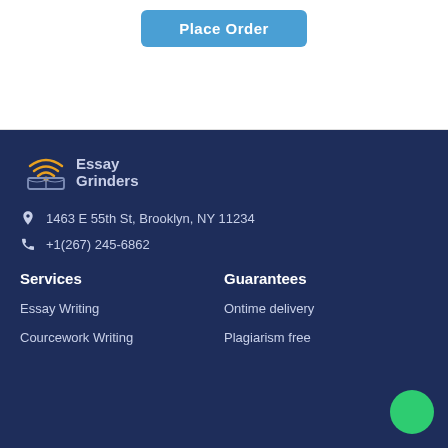[Figure (screenshot): Blue 'Place Order' button on white background]
[Figure (logo): Essay Grinders logo with wifi/book icon and text]
1463 E 55th St, Brooklyn, NY 11234
+1(267) 245-6862
Services
Guarantees
Essay Writing
Ontime delivery
Courcework Writing
Plagiarism free